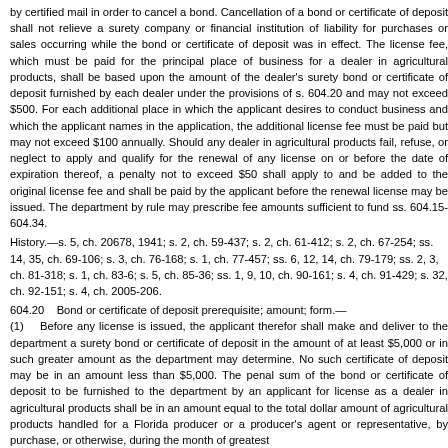by certified mail in order to cancel a bond. Cancellation of a bond or certificate of deposit shall not relieve a surety company or financial institution of liability for purchases or sales occurring while the bond or certificate of deposit was in effect. The license fee, which must be paid for the principal place of business for a dealer in agricultural products, shall be based upon the amount of the dealer's surety bond or certificate of deposit furnished by each dealer under the provisions of s. 604.20 and may not exceed $500. For each additional place in which the applicant desires to conduct business and which the applicant names in the application, the additional license fee must be paid but may not exceed $100 annually. Should any dealer in agricultural products fail, refuse, or neglect to apply and qualify for the renewal of any license on or before the date of expiration thereof, a penalty not to exceed $50 shall apply to and be added to the original license fee and shall be paid by the applicant before the renewal license may be issued. The department by rule may prescribe fee amounts sufficient to fund ss. 604.15-604.34.
History.—s. 5, ch. 20678, 1941; s. 2, ch. 59-437; s. 2, ch. 61-412; s. 2, ch. 67-254; ss. 14, 35, ch. 69-106; s. 3, ch. 76-168; s. 1, ch. 77-457; ss. 6, 12, 14, ch. 79-179; ss. 2, 3, ch. 81-318; s. 1, ch. 83-6; s. 5, ch. 85-36; ss. 1, 9, 10, ch. 90-161; s. 4, ch. 91-429; s. 32, ch. 92-151; s. 4, ch. 2005-206.
604.20    Bond or certificate of deposit prerequisite; amount; form.—
(1)    Before any license is issued, the applicant therefor shall make and deliver to the department a surety bond or certificate of deposit in the amount of at least $5,000 or in such greater amount as the department may determine. No such certificate of deposit may be in an amount less than $5,000. The penal sum of the bond or certificate of deposit to be furnished to the department by an applicant for license as a dealer in agricultural products shall be in an amount equal to the total dollar amount of agricultural products handled for a Florida producer or a producer's agent or representative, by purchase, or otherwise, during the month of greatest